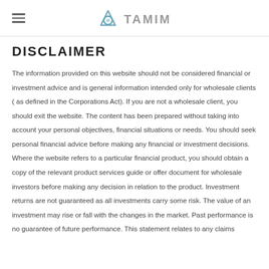TAMIM
DISCLAIMER
The information provided on this website should not be considered financial or investment advice and is general information intended only for wholesale clients ( as defined in the Corporations Act). If you are not a wholesale client, you should exit the website. The content has been prepared without taking into account your personal objectives, financial situations or needs. You should seek personal financial advice before making any financial or investment decisions. Where the website refers to a particular financial product, you should obtain a copy of the relevant product services guide or offer document for wholesale investors before making any decision in relation to the product. Investment returns are not guaranteed as all investments carry some risk. The value of an investment may rise or fall with the changes in the market. Past performance is no guarantee of future performance. This statement relates to any claims